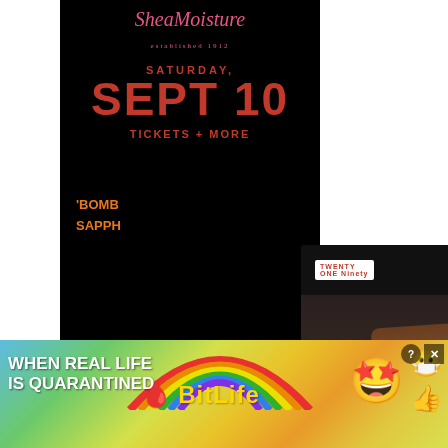[Figure (screenshot): SheaMoisture advertisement with black background showing Saturday Sept 10 event with tickets + more text, and 'BOMB SAPPH' partial text in orange. Overlaid by a popup card showing legs with yellow shoes, with '9 Timeless Shoes For Fall - 21Ninety' caption.]
SHOP NOW
[Figure (screenshot): BitLife mobile game advertisement banner with rainbow gradient background, 'WHEN REAL LIFE IS QUARANTINED' text, BitLife logo in yellow, and emoji icons (star eyes face, mask face, thumbs up). Close buttons in top right corner.]